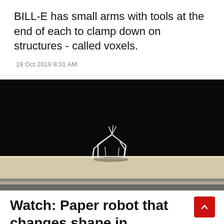BILL-E has small arms with tools at the end of each to clamp down on structures - called voxels.
18 Oct 2019 8:31 AM
[Figure (photo): A small angular paper/white robot structure photographed against a dark black background, sitting on a light-colored surface. The structure resembles a small house or geometric shape made of folded white material.]
Watch: Paper robot that changes shape in response to